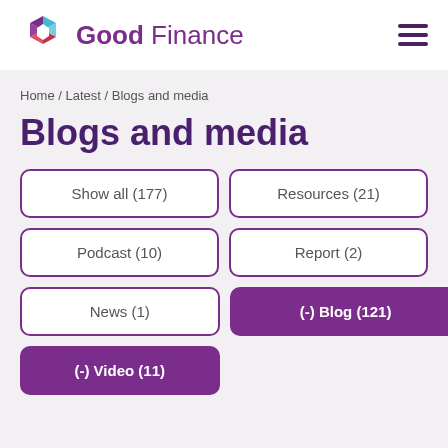Good Finance
Home / Latest / Blogs and media
Blogs and media
Show all (177)
Resources (21)
Podcast (10)
Report (2)
News (1)
(-) Blog (121)
(-) Video (11)